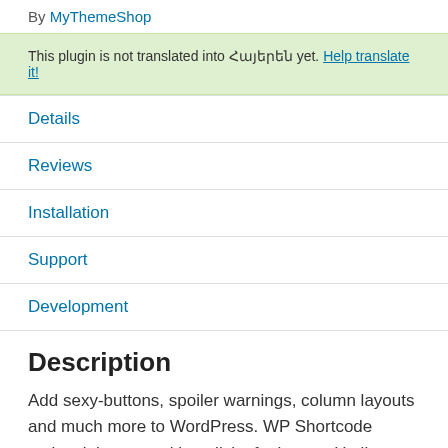By MyThemeShop
This plugin is not translated into Հայերեն yet. Help translate it!
Details
Reviews
Installation
Support
Development
Description
Add sexy-buttons, spoiler warnings, column layouts and much more to WordPress. WP Shortcode makes it happen with a click of a button. Until now, this premium plugin was available to premium members of